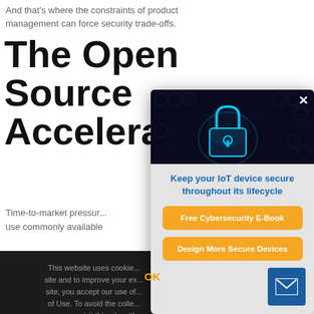And that's where the constraints of product management can force security trade-offs.
The Open Source Accelerate
Time-to-market pressur... use commonly available
This website uses cookies... site and to improve your ex... site, you accept our use of... of Use. To avoid the colle... you can visit this site with
[Figure (screenshot): Modal popup with cybersecurity padlock image, heading 'Keep your IoT device secure throughout its lifecycle', two orange CTA buttons: 'Free Cybersecurity E-Book' and 'Design More Secure Devices', and a blue mail icon button in lower right]
Keep your IoT device secure throughout its lifecycle
Free Cybersecurity E-Book
Design More Secure Devices
OK